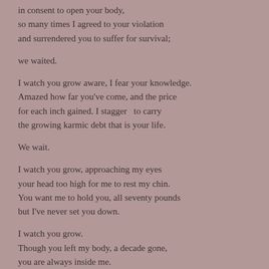in consent to open your body,
so many times I agreed to your violation
and surrendered you to suffer for survival;
we waited.
I watch you grow aware, I fear your knowledge.
Amazed how far you've come, and the price
for each inch gained. I stagger  to carry
the growing karmic debt that is your life.
We wait.
I watch you grow, approaching my eyes
your head too high for me to rest my chin.
You want me to hold you, all seventy pounds
but I've never set you down.
I watch you grow.
Though you left my body, a decade gone,
you are always inside me.